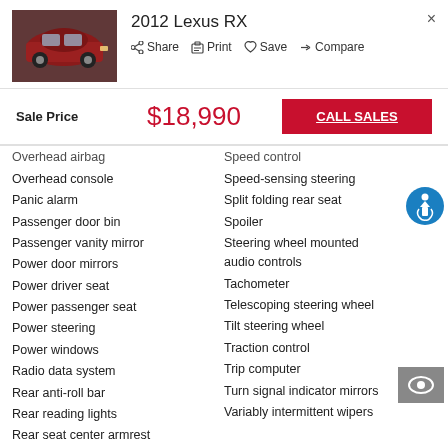[Figure (photo): Red 2012 Lexus RX SUV parked outdoors]
2012 Lexus RX
Share  Print  Save  Compare
Sale Price  $18,990  CALL SALES
Overhead airbag
Overhead console
Panic alarm
Passenger door bin
Passenger vanity mirror
Power door mirrors
Power driver seat
Power passenger seat
Power steering
Power windows
Radio data system
Rear anti-roll bar
Rear reading lights
Rear seat center armrest
Speed control
Speed-sensing steering
Split folding rear seat
Spoiler
Steering wheel mounted audio controls
Tachometer
Telescoping steering wheel
Tilt steering wheel
Traction control
Trip computer
Turn signal indicator mirrors
Variably intermittent wipers